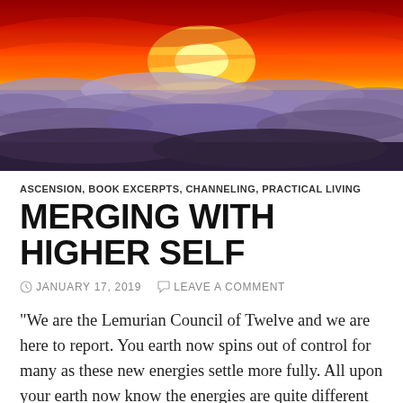[Figure (photo): Dramatic sunset landscape with vivid red, orange, and yellow sky above a sea of clouds covering mountainous terrain]
ASCENSION, BOOK EXCERPTS, CHANNELING, PRACTICAL LIVING
MERGING WITH HIGHER SELF
JANUARY 17, 2019   LEAVE A COMMENT
"We are the Lemurian Council of Twelve and we are here to report. You earth now spins out of control for many as these new energies settle more fully. All upon your earth now know the energies are quite different than before. As your full moon arrives this month of January 2019, it brings with it greater